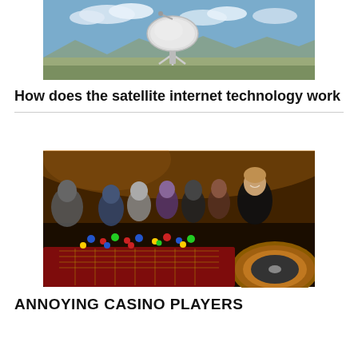[Figure (photo): A large satellite dish/radio telescope in an open field with mountains in the background under a cloudy sky.]
How does the satellite internet technology work
[Figure (photo): A group of smiling people gathered around a casino roulette table with chips, in a casino setting with warm yellow lighting.]
ANNOYING CASINO PLAYERS